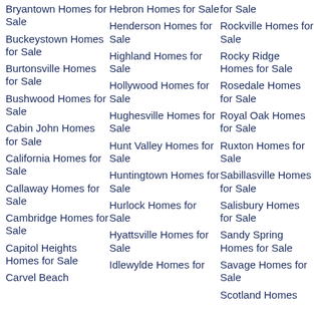Bryantown Homes for Sale
Buckeystown Homes for Sale
Burtonsville Homes for Sale
Bushwood Homes for Sale
Cabin John Homes for Sale
California Homes for Sale
Callaway Homes for Sale
Cambridge Homes for Sale
Capitol Heights Homes for Sale
Carvel Beach Homes for Sale
Hebron Homes for Sale
Henderson Homes for Sale
Highland Homes for Sale
Hollywood Homes for Sale
Hughesville Homes for Sale
Hunt Valley Homes for Sale
Huntingtown Homes for Sale
Hurlock Homes for Sale
Hyattsville Homes for Sale
Idlewylde Homes for Sale
for Sale
Rockville Homes for Sale
Rocky Ridge Homes for Sale
Rosedale Homes for Sale
Royal Oak Homes for Sale
Ruxton Homes for Sale
Sabillasville Homes for Sale
Salisbury Homes for Sale
Sandy Spring Homes for Sale
Savage Homes for Sale
Scotland Homes for Sale